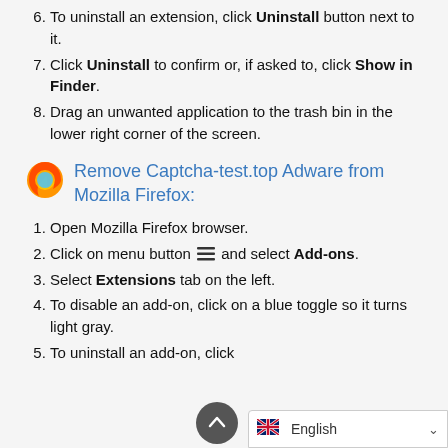6. To uninstall an extension, click Uninstall button next to it.
7. Click Uninstall to confirm or, if asked to, click Show in Finder.
8. Drag an unwanted application to the trash bin in the lower right corner of the screen.
Remove Captcha-test.top Adware from Mozilla Firefox:
1. Open Mozilla Firefox browser.
2. Click on menu button ☰ and select Add-ons.
3. Select Extensions tab on the left.
4. To disable an add-on, click on a blue toggle so it turns light gray.
5. To uninstall an add-on, click ... it